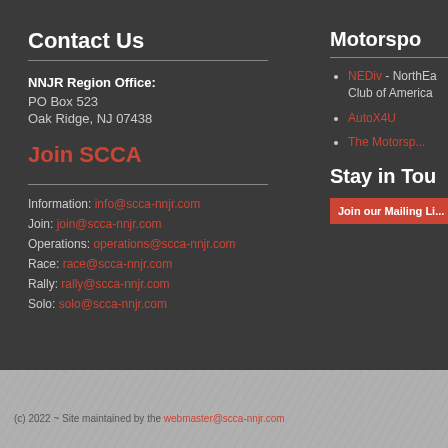Contact Us
NNJR Region Office:
PO Box 523
Oak Ridge, NJ 07438
Join SCCA
Information: info@scca-nnjr.com
Join: join@scca-nnjr.com
Operations: operations@scca-nnjr.com
Race: race@scca-nnjr.com
Rally: rally@scca-nnjr.com
Solo: solo@scca-nnjr.com
Motorspo...
NEDiv - NorthEa... Club of America
AutoX4U
The Motorsp...
Stay in Tou...
Join our Mailing Li...
(c) 2022 ~ Site maintained by the webmaster@scca-nnjr.com